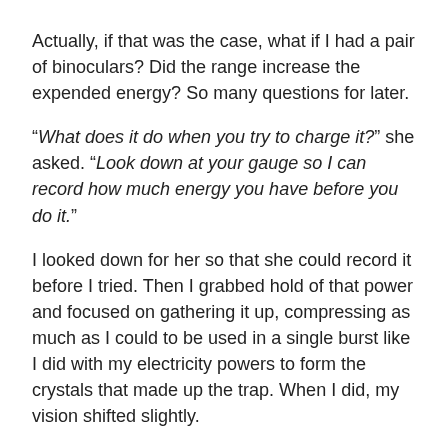Actually, if that was the case, what if I had a pair of binoculars? Did the range increase the expended energy? So many questions for later.
“What does it do when you try to charge it?” she asked. “Look down at your gauge so I can record how much energy you have before you do it.”
I looked down for her so that she could record it before I tried. Then I grabbed hold of that power and focused on gathering it up, compressing as much as I could to be used in a single burst like I did with my electricity powers to form the crystals that made up the trap. When I did, my vision shifted slightly.
Instead of a bunch of blue objects, there was a sort of luminous sphere that appeared. It moved with a thought